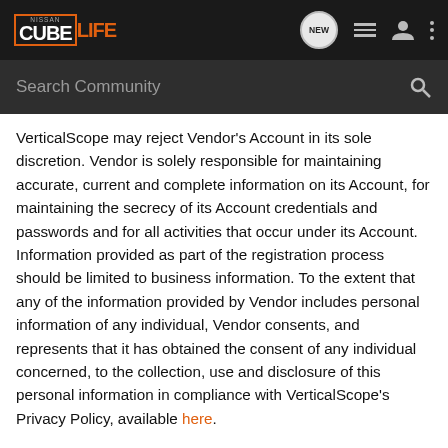NISSAN CUBELIFE - Search Community
VerticalScope may reject Vendor's Account in its sole discretion. Vendor is solely responsible for maintaining accurate, current and complete information on its Account, for maintaining the secrecy of its Account credentials and passwords and for all activities that occur under its Account. Information provided as part of the registration process should be limited to business information. To the extent that any of the information provided by Vendor includes personal information of any individual, Vendor consents, and represents that it has obtained the consent of any individual concerned, to the collection, use and disclosure of this personal information in compliance with VerticalScope's Privacy Policy, available here.
2. Services. The Services offered or provided to Vendor by VerticalScope include or consist of self-service tools that